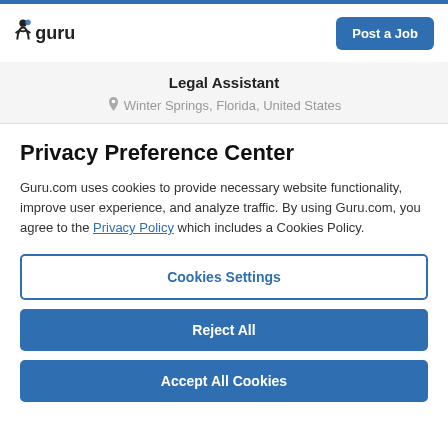guru | Post a Job
Legal Assistant
Winter Springs, Florida, United States
Privacy Preference Center
Guru.com uses cookies to provide necessary website functionality, improve user experience, and analyze traffic. By using Guru.com, you agree to the Privacy Policy which includes a Cookies Policy.
Cookies Settings
Reject All
Accept All Cookies